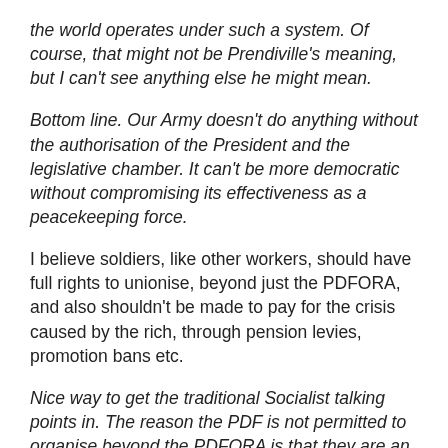the world operates under such a system. Of course, that might not be Prendiville's meaning, but I can't see anything else he might mean.
Bottom line. Our Army doesn't do anything without the authorisation of the President and the legislative chamber. It can't be more democratic without compromising its effectiveness as a peacekeeping force.
I believe soldiers, like other workers, should have full rights to unionise, beyond just the PDFORA, and also shouldn't be made to pay for the crisis caused by the rich, through pension levies, promotion bans etc.
Nice way to get the traditional Socialist talking points in. The reason the PDF is not permitted to organise beyond the PDFORA is that they are an emergency service. They